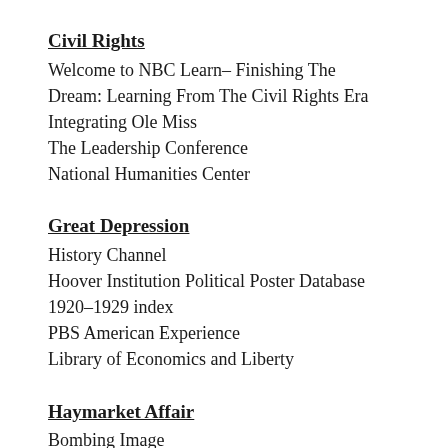Civil Rights
Welcome to NBC Learn– Finishing The Dream: Learning From The Civil Rights Era
Integrating Ole Miss
The Leadership Conference
National Humanities Center
Great Depression
History Channel
Hoover Institution Political Poster Database 1920–1929 index
PBS American Experience
Library of Economics and Liberty
Haymarket Affair
Bombing Image